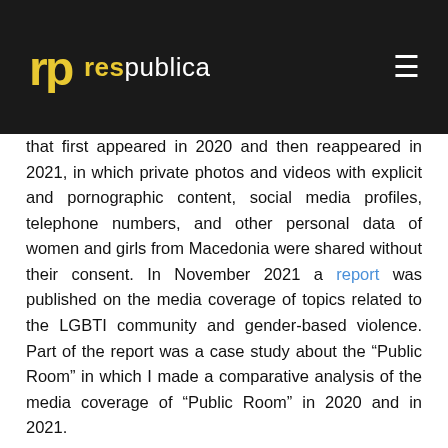respublica
that first appeared in 2020 and then reappeared in 2021, in which private photos and videos with explicit and pornographic content, social media profiles, telephone numbers, and other personal data of women and girls from Macedonia were shared without their consent. In November 2021 a report was published on the media coverage of topics related to the LGBTI community and gender-based violence. Part of the report was a case study about the “Public Room” in which I made a comparative analysis of the media coverage of “Public Room” in 2020 and in 2021.
Public Room was a crime and a huge scandal about gender-based violence, but not everyone perceived the case as such. The social media were full of problematic